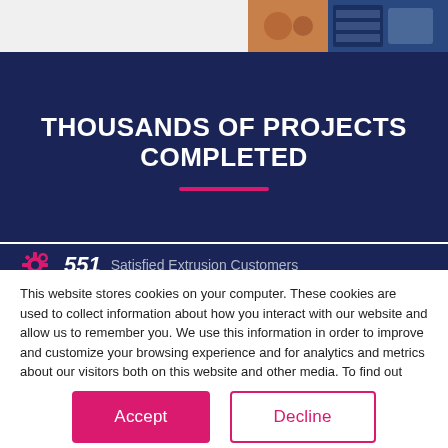[Figure (photo): Partial view of industrial machinery/extrusion equipment in orange/blue tones shown in top-right of page]
THOUSANDS OF PROJECTS COMPLETED
[Figure (infographic): Pink gear icon followed by stat: 551 Satisfied Extrusion Customers]
This website stores cookies on your computer. These cookies are used to collect information about how you interact with our website and allow us to remember you. We use this information in order to improve and customize your browsing experience and for analytics and metrics about our visitors both on this website and other media. To find out more about the cookies we use, see our Privacy Policy.
If you decline, your information won’t be tracked when you visit this website. A single cookie will be used in your browser to remember your preference not to be tracked.